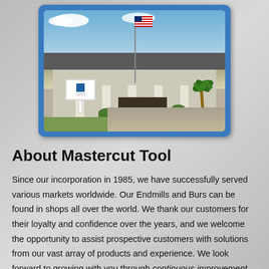[Figure (photo): Exterior photo of Mastercut Tool building with American flag, sign, palm tree, and columns. Blue border frame around the photo.]
About Mastercut Tool
Since our incorporation in 1985, we have successfully served various markets worldwide. Our Endmills and Burs can be found in shops all over the world. We thank our customers for their loyalty and confidence over the years, and we welcome the opportunity to assist prospective customers with solutions from our vast array of products and experience. We look forward to growing with you through continuous improvement, commitment to detail, and attention to your